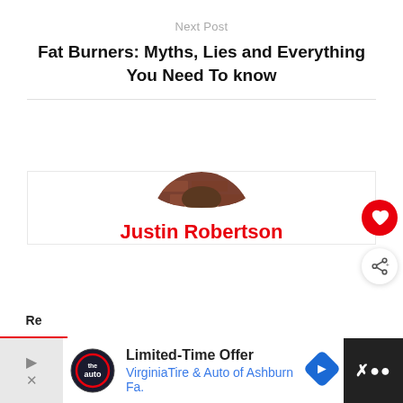Next Post
Fat Burners: Myths, Lies and Everything You Need To know
[Figure (photo): Author card with circular portrait photo of Justin Robertson (young man with glasses in front of brick wall), red heart button and share button on the right side, and a 'What's Next' widget showing 'Pre, Intra And Post Trainin...']
Justin Robertson
[Figure (infographic): Advertisement banner at the bottom showing 'Limited-Time Offer - VirginiaTire & Auto of Ashburn Fa.' with The Auto logo and a blue navigation arrow icon]